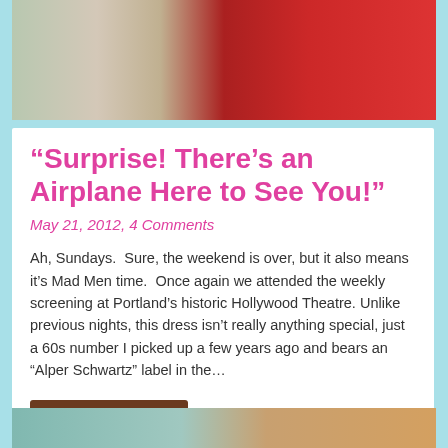[Figure (photo): Partial photo of a person wearing a red dress, upper body visible against a light background]
“Surprise! There’s an Airplane Here to See You!”
May 21, 2012, 4 Comments
Ah, Sundays.  Sure, the weekend is over, but it also means it’s Mad Men time.  Once again we attended the weekly screening at Portland’s historic Hollywood Theatre. Unlike previous nights, this dress isn’t really anything special, just a 60s number I picked up a few years ago and bears an “Alper Schwartz” label in the…
Read More...
[Figure (photo): Partial bottom photo, appears to show a teal/colorful background, cropped at page bottom]